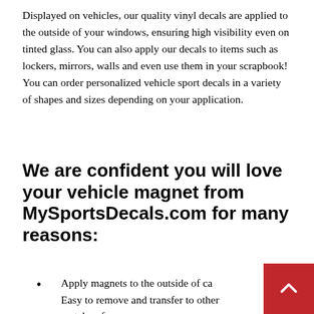Displayed on vehicles, our quality vinyl decals are applied to the outside of your windows, ensuring high visibility even on tinted glass. You can also apply our decals to items such as lockers, mirrors, walls and even use them in your scrapbook! You can order personalized vehicle sport decals in a variety of shapes and sizes depending on your application.
We are confident you will love your vehicle magnet from MySportsDecals.com for many reasons:
Apply magnets to the outside of cars. Easy to remove and transfer to other metal surfaces.